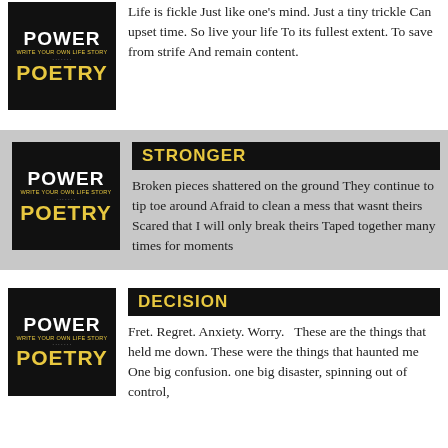[Figure (illustration): Power Poetry logo: black background with stylized 'POWER' text and 'WRITE YOUR OWN LIFE STORY' tagline and 'POETRY' in yellow]
Life is fickle Just like one's mind. Just a tiny trickle Can upset time. So live your life To its fullest extent. To save from strife And remain content.
[Figure (illustration): Power Poetry logo: black background with stylized 'POWER' text and 'WRITE YOUR OWN LIFE STORY' tagline and 'POETRY' in yellow]
STRONGER
Broken pieces shattered on the ground They continue to tip toe around Afraid to clean a mess that wasnt theirs  Scared that I will only break theirs Taped together many times for moments
[Figure (illustration): Power Poetry logo: black background with stylized 'POWER' text and 'WRITE YOUR OWN LIFE STORY' tagline and 'POETRY' in yellow]
DECISION
Fret. Regret. Anxiety. Worry.   These are the things that held me down. These were the things that haunted me One big confusion. one big disaster, spinning out of control,